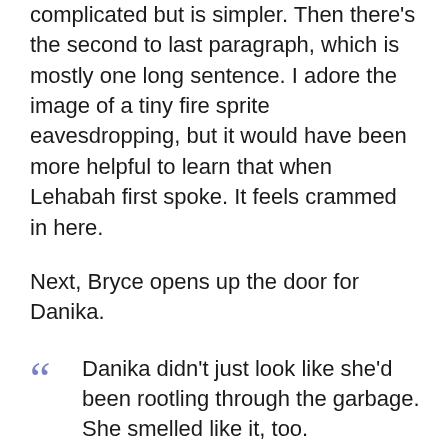complicated but is simpler. Then there's the second to last paragraph, which is mostly one long sentence. I adore the image of a tiny fire sprite eavesdropping, but it would have been more helpful to learn that when Lehabah first spoke. It feels crammed in here.
Next, Bryce opens up the door for Danika.
Danika didn't just look like she'd been rootling through the garbage. She smelled like it, too.
Wisps of her silvery blond hair—normally a straight, silken sheet—curled from her tight, long braid, the